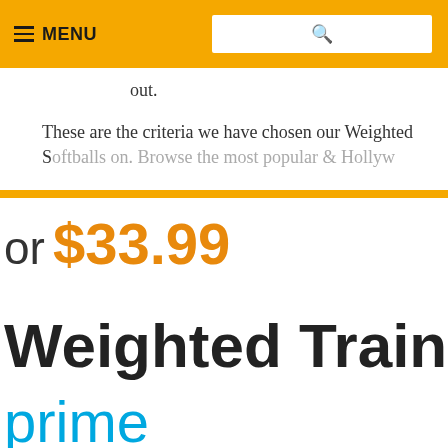MENU [search bar]
out.
These are the criteria we have chosen our Weighted Softballs on. Browse the most popular & Hollywood
or $33.99
Weighted Trainin
prime